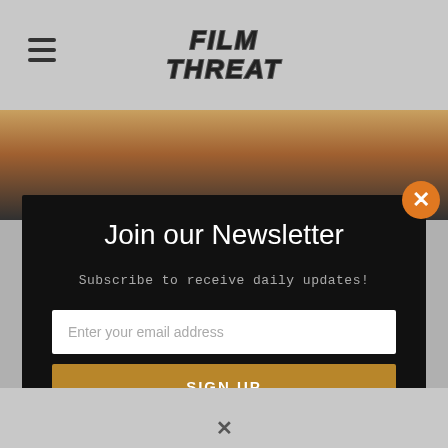[Figure (logo): Film Threat logo with hamburger menu icon on the left, website header]
[Figure (photo): Partial photo of a person's head, blurred background, shown in strip behind modal]
Join our Newsletter
Subscribe to receive daily updates!
Enter your email address
SIGN UP